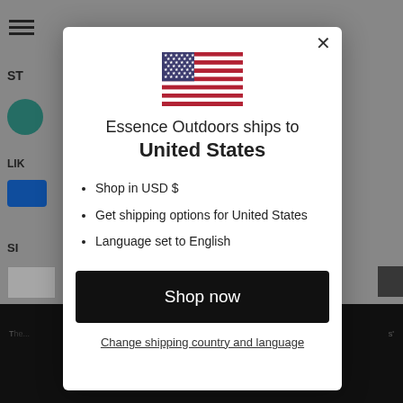[Figure (screenshot): Background of a website page partially visible behind a modal overlay, showing navigation elements, store sections, social media buttons, and a dark footer.]
[Figure (illustration): US flag icon centered at top of modal dialog]
Essence Outdoors ships to United States
Shop in USD $
Get shipping options for United States
Language set to English
Shop now
Change shipping country and language